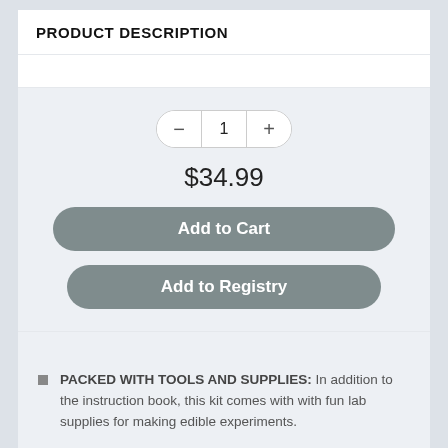PRODUCT DESCRIPTION
$34.99
Add to Cart
Add to Registry
PACKED WITH TOOLS AND SUPPLIES: In addition to the instruction book, this kit comes with with fun lab supplies for making edible experiments.
STEM LEARNING: You'll discover how bees pollinate fruit trees, how cheese melts, and why pizza dough rises...